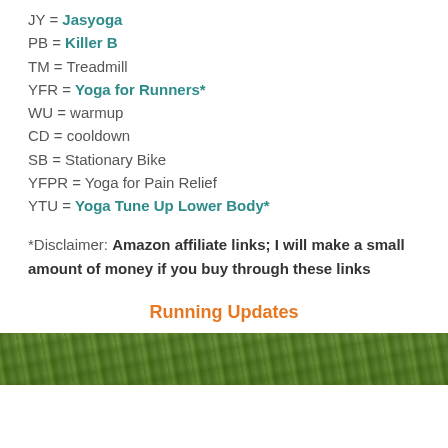JY = Jasyoga
PB = Killer B
TM = Treadmill
YFR = Yoga for Runners*
WU = warmup
CD = cooldown
SB = Stationary Bike
YFPR = Yoga for Pain Relief
YTU = Yoga Tune Up Lower Body*
*Disclaimer: Amazon affiliate links; I will make a small amount of money if you buy through these links
Running Updates
[Figure (photo): Photo of trees/forest with dense green foliage]